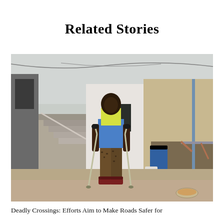Related Stories
[Figure (photo): A woman using forearm crutches standing in a courtyard outside a building. She is wearing a yellow and blue shirt and patterned pants with red platform shoes. There are stairs, buildings, a blue barrel, and a metal frame structure visible in the background.]
Deadly Crossings: Efforts Aim to Make Roads Safer for